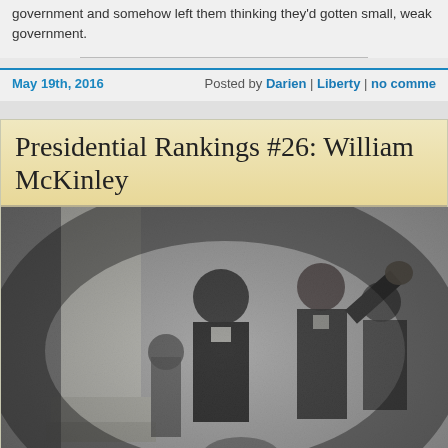government and somehow left them thinking they'd gotten small, weak government.
May 19th, 2016   Posted by Darien | Liberty | no comments
Presidential Rankings #26: William McKinley
[Figure (photo): Black and white historical photograph showing William McKinley and other figures in formal attire, standing near what appears to be a columned building or structure.]